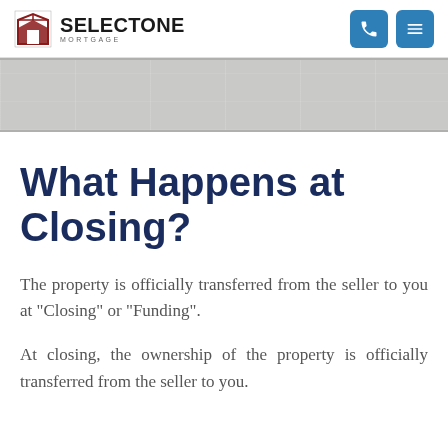SELECT ONE MORTGAGE
[Figure (photo): Decorative brick/stone wall texture hero image strip]
What Happens at Closing?
The property is officially transferred from the seller to you at "Closing" or "Funding".
At closing, the ownership of the property is officially transferred from the seller to you.